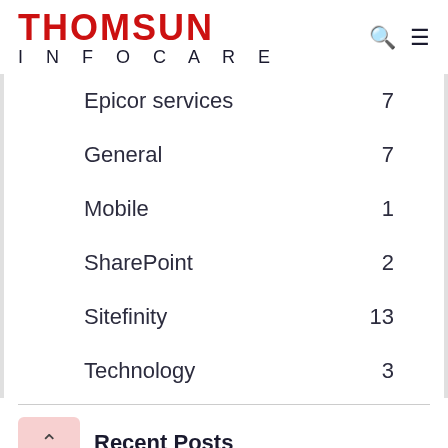[Figure (logo): Thomsun Infocare logo with search and menu icons]
Epicor services 7
General 7
Mobile 1
SharePoint 2
Sitefinity 13
Technology 3
Recent Posts